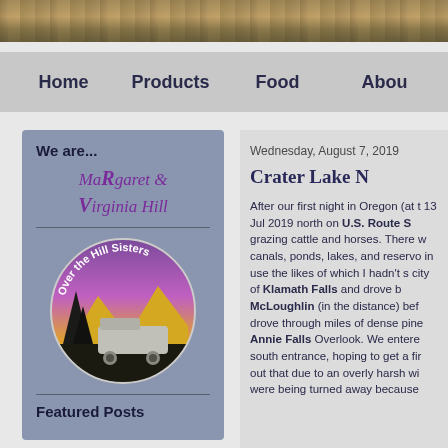[Figure (photo): Landscape photo strip showing desert/scrubland terrain with brown and tan colors at the top of the page]
Home   Products   Food   About
We are...
MaRgaret & Virginia Hill
[Figure (logo): Circular logo for 'Over the Hill Sisters' showing a purple/pink sunset sky, mountains, trees silhouette, and an RV/camper vehicle]
Featured Posts
Wednesday, August 7, 2019
Crater Lake N
After our first night in Oregon (at t 13 Jul 2019 north on U.S. Route S grazing cattle and horses. There w canals, ponds, lakes, and reservo in use the likes of which I hadn't s city of Klamath Falls and drove b McLoughlin (in the distance) bef drove through miles of dense pine Annie Falls Overlook. We entere south entrance, hoping to get a fir out that due to an overly harsh wi were being turned away because